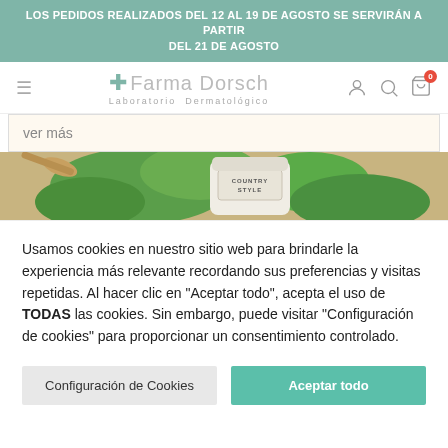LOS PEDIDOS REALIZADOS DEL 12 AL 19 DE AGOSTO SE SERVIRÁN A PARTIR DEL 21 DE AGOSTO
[Figure (screenshot): Farma Dorsch website navigation bar with cross logo, hamburger menu, user icon, search icon, and cart icon with badge showing 0]
ver más
[Figure (photo): Product image strip showing a cream or cosmetic jar with label reading COUNTRY STYLE surrounded by green aloe vera leaves and wooden elements]
Usamos cookies en nuestro sitio web para brindarle la experiencia más relevante recordando sus preferencias y visitas repetidas. Al hacer clic en "Aceptar todo", acepta el uso de TODAS las cookies. Sin embargo, puede visitar "Configuración de cookies" para proporcionar un consentimiento controlado.
Configuración de Cookies
Aceptar todo